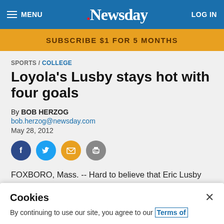MENU  .Newsday  LOG IN
SUBSCRIBE $1 FOR 5 MONTHS
SPORTS / COLLEGE
Loyola's Lusby stays hot with four goals
By BOB HERZOG
bob.herzog@newsday.com
May 28, 2012
FOXBORO, Mass. -- Hard to believe that Eric Lusby actually was struggling with his shot before the NCAA Tournament began. How quickly things turned around for
Cookies
By continuing to use our site, you agree to our Terms of